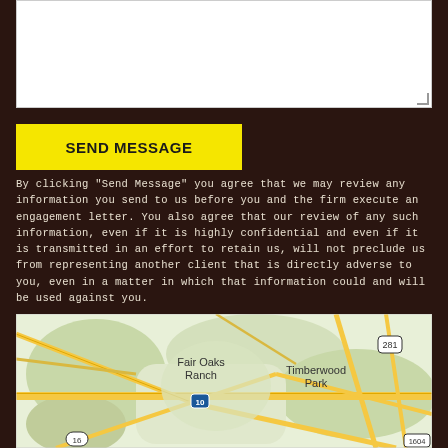[Figure (other): White textarea input box with resize handle in bottom-right corner]
SEND MESSAGE
By clicking "Send Message" you agree that we may review any information you send to us before you and the firm execute an engagement letter. You also agree that our review of any such information, even if it is highly confidential and even if it is transmitted in an effort to retain us, will not preclude us from representing another client that is directly adverse to you, even in a matter in which that information could and will be used against you.
[Figure (map): Google Maps view showing Fair Oaks Ranch, Timberwood Park area near San Antonio, Texas. Shows highways 281, 10, 16, and 1604. Green and beige terrain with yellow road lines.]